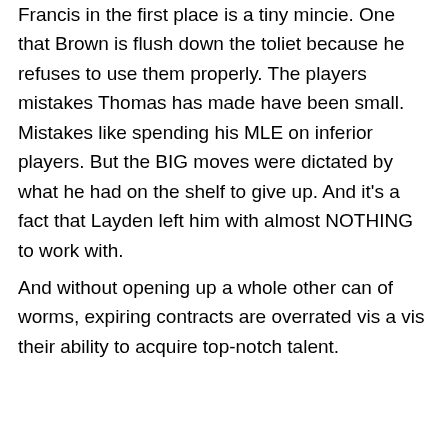Francis in the first place is a tiny mincie. One that Brown is flush down the toliet because he refuses to use them properly. The players mistakes Thomas has made have been small. Mistakes like spending his MLE on inferior players. But the BIG moves were dictated by what he had on the shelf to give up. And it's a fact that Layden left him with almost NOTHING to work with.
And without opening up a whole other can of worms, expiring contracts are overrated vis a vis their ability to acquire top-notch talent.